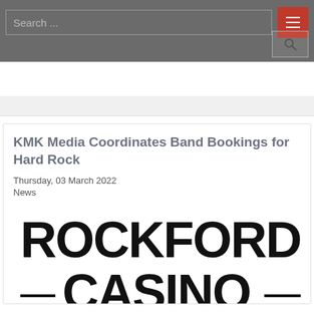Search ...
KMK Media Coordinates Band Bookings for Hard Rock
Thursday, 03 March 2022
News
[Figure (logo): Rockford Casino logo in large bold black text]